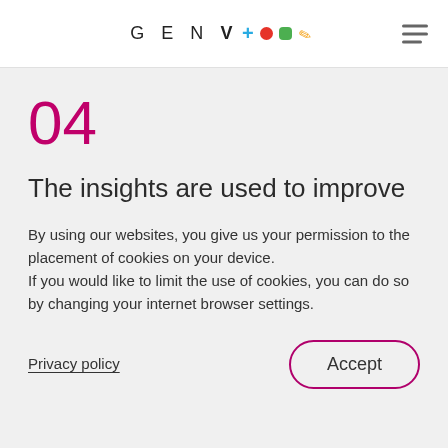GEN V + ● ■ ✏
04
The insights are used to improve
By using our websites, you give us your permission to the placement of cookies on your device.
If you would like to limit the use of cookies, you can do so by changing your internet browser settings.
Privacy policy
Accept